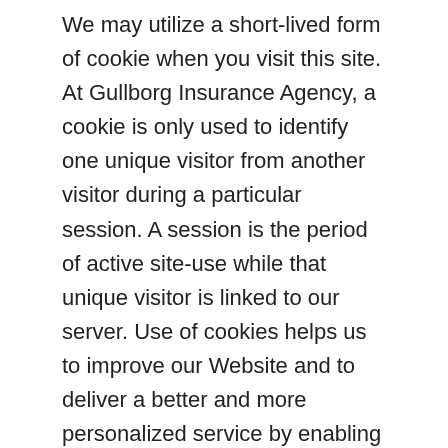We may utilize a short-lived form of cookie when you visit this site. At Gullborg Insurance Agency, a cookie is only used to identify one unique visitor from another visitor during a particular session. A session is the period of active site-use while that unique visitor is linked to our server. Use of cookies helps us to improve our Website and to deliver a better and more personalized service by enabling us to: estimate our audience size and usage patterns; store information about your preferences allowing us to customize our Site according to your individual interests; speed up your searches; and recognize you when you return to our Website. You may refuse to accept cookies by activating the appropriate setting on your browser. However, if you activate such a setting, you may be unable to access certain parts of our Website. Unless